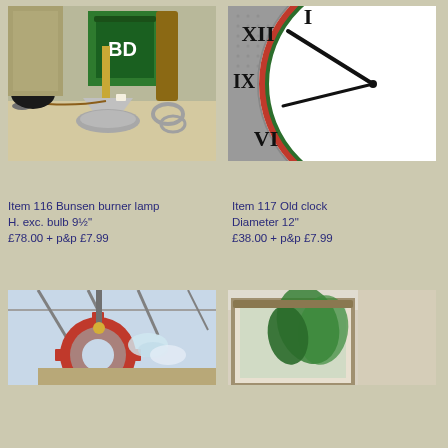[Figure (photo): Bunsen burner lamp with silver/aluminium base on a table with various items in background]
[Figure (photo): Old clock face with Roman numerals, white face with decorative border, partially cropped]
Item 116 Bunsen burner lamp H. exc. bulb 9½"
£78.00 + p&p £7.99
Item 117 Old clock Diameter 12"
£38.00 + p&p £7.99
[Figure (photo): Industrial or steampunk-style lamp with large red gear wheel, in a workshop or market hall setting]
[Figure (photo): Mirror or frame with plant/greenery visible, partially cropped]